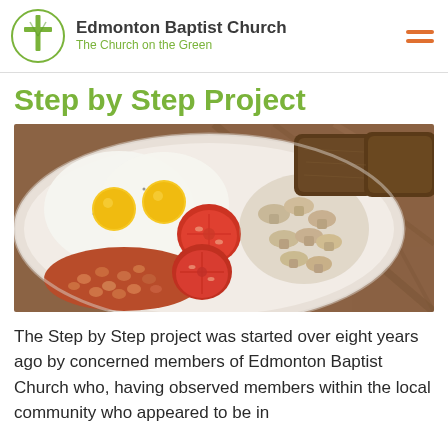Edmonton Baptist Church — The Church on the Green
Step by Step Project
[Figure (photo): A white plate with a full English breakfast: fried eggs, baked beans in tomato sauce, grilled tomatoes, sautéed mushrooms, and brown toast slices, on a wooden table background.]
The Step by Step project was started over eight years ago by concerned members of Edmonton Baptist Church who, having observed members within the local community who appeared to be in